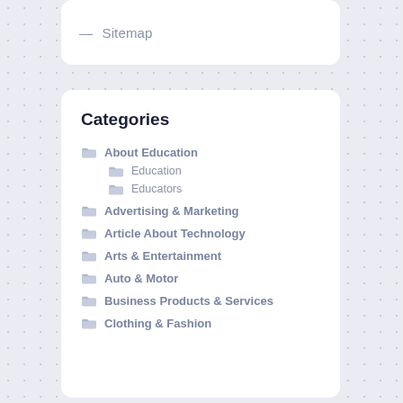— Sitemap
Categories
About Education
Education
Educators
Advertising & Marketing
Article About Technology
Arts & Entertainment
Auto & Motor
Business Products & Services
Clothing & Fashion